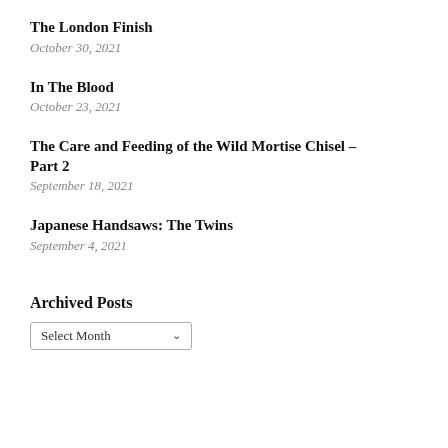The London Finish
October 30, 2021
In The Blood
October 23, 2021
The Care and Feeding of the Wild Mortise Chisel – Part 2
September 18, 2021
Japanese Handsaws: The Twins
September 4, 2021
Archived Posts
Select Month